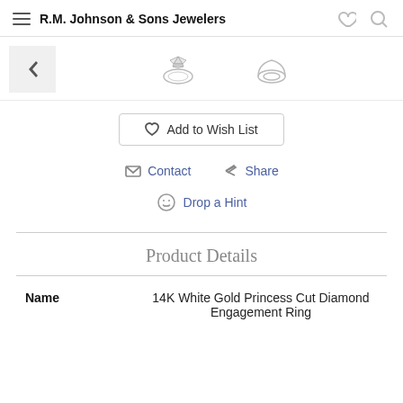R.M. Johnson & Sons Jewelers
[Figure (photo): Thumbnail images of engagement ring: back arrow navigation button, detailed ring with diamond, and simple ring outline]
Add to Wish List
Contact   Share
Drop a Hint
Product Details
| Name | Value |
| --- | --- |
| Name | 14K White Gold Princess Cut Diamond Engagement Ring |